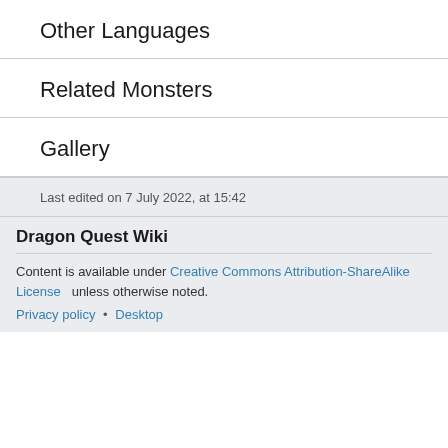Other Languages
Related Monsters
Gallery
Last edited on 7 July 2022, at 15:42
Dragon Quest Wiki
Content is available under Creative Commons Attribution-ShareAlike License unless otherwise noted.
Privacy policy • Desktop